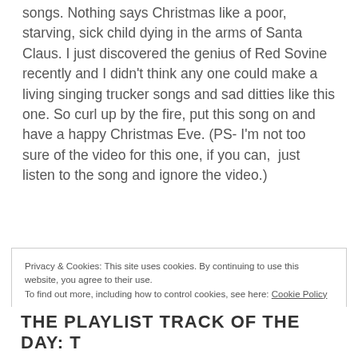songs. Nothing says Christmas like a poor, starving, sick child dying in the arms of Santa Claus. I just discovered the genius of Red Sovine recently and I didn't think any one could make a living singing trucker songs and sad ditties like this one. So curl up by the fire, put this song on and have a happy Christmas Eve. (PS- I'm not too sure of the video for this one, if you can,  just listen to the song and ignore the video.)
Privacy & Cookies: This site uses cookies. By continuing to use this website, you agree to their use. To find out more, including how to control cookies, see here: Cookie Policy
THE PLAYLIST TRACK OF THE DAY: T